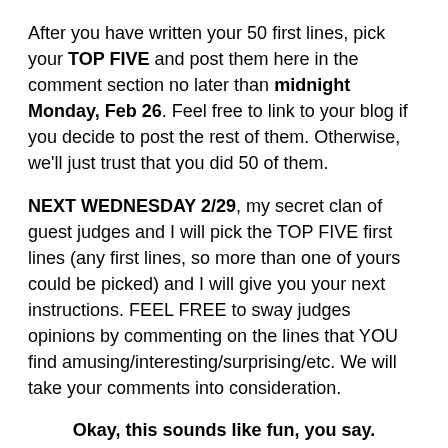After you have written your 50 first lines, pick your TOP FIVE and post them here in the comment section no later than midnight Monday, Feb 26. Feel free to link to your blog if you decide to post the rest of them. Otherwise, we'll just trust that you did 50 of them.
NEXT WEDNESDAY 2/29, my secret clan of guest judges and I will pick the TOP FIVE first lines (any first lines, so more than one of yours could be picked) and I will give you your next instructions. FEEL FREE to sway judges opinions by commenting on the lines that YOU find amusing/interesting/surprising/etc. We will take your comments into consideration.
Okay, this sounds like fun, you say.
But what can I win, and How do I win?